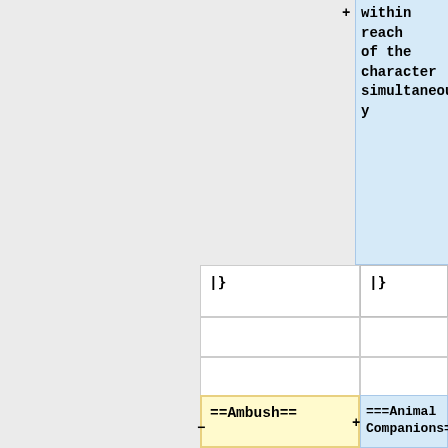+within reach of the character simultaneously
|}
|}
==Ambush==
-
===Animal Companions===
+
:''Prerequisite:'' [[Warlords_Of_Kruhl_3e_EN:Gifts#Animal Empathy|Animal Empathy]]
+